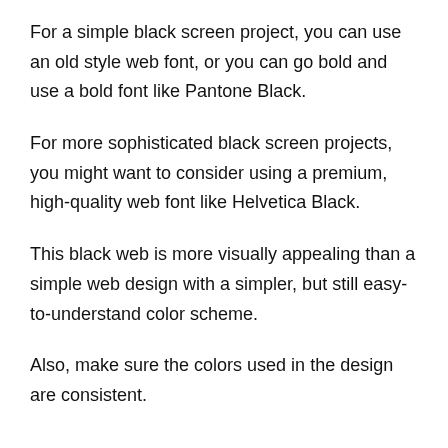For a simple black screen project, you can use an old style web font, or you can go bold and use a bold font like Pantone Black.
For more sophisticated black screen projects, you might want to consider using a premium, high-quality web font like Helvetica Black.
This black web is more visually appealing than a simple web design with a simpler, but still easy-to-understand color scheme.
Also, make sure the colors used in the design are consistent.